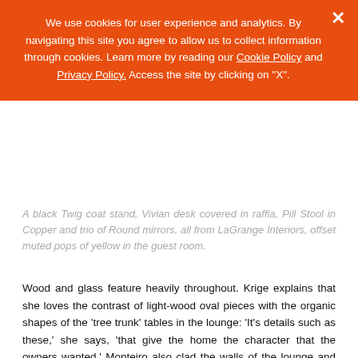We use cookies for user experience and analytics. By navigating this site you agree to allow us to collect information through cookies. Learn more by reading our Cookie Policy and Privacy Policy. Access the site by clicking on "X".
A black Twig coat stand, Vivian desk covered in raffia, Pill Stool in Copper and trio of Round mirrors, all from LaGrange Interiors, offset muted pops of yellow in the guest room.
Wood and glass feature heavily throughout. Krige explains that she loves the contrast of light-wood oval pieces with the organic shapes of the 'tree trunk' tables in the lounge: 'It's details such as these,' she says, 'that give the home the character that the owners wanted.' Monteiro also clad the walls of the lounge and study in wooden scaffold planking, adding a rustic element to the interior.